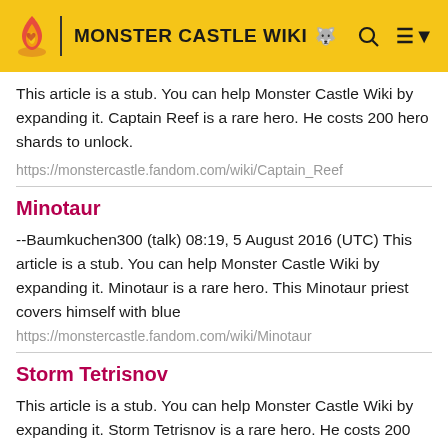MONSTER CASTLE WIKI
This article is a stub. You can help Monster Castle Wiki by expanding it. Captain Reef is a rare hero. He costs 200 hero shards to unlock.
https://monstercastle.fandom.com/wiki/Captain_Reef
Minotaur
--Baumkuchen300 (talk) 08:19, 5 August 2016 (UTC) This article is a stub. You can help Monster Castle Wiki by expanding it. Minotaur is a rare hero. This Minotaur priest covers himself with blue
https://monstercastle.fandom.com/wiki/Minotaur
Storm Tetrisnov
This article is a stub. You can help Monster Castle Wiki by expanding it. Storm Tetrisnov is a rare hero. He costs 200 hero shards to unlock.
https://monstercastle.fandom.com/wiki/Storm_Tetrisnov